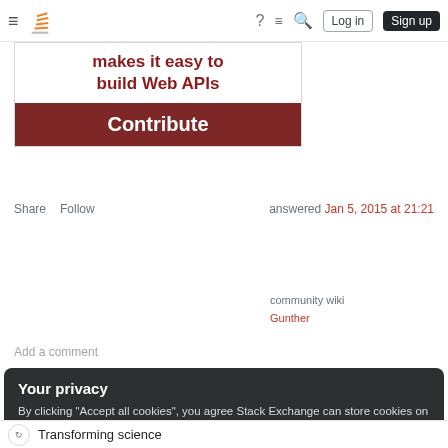≡  [logo]  ?  [chat]  [search]  Log in  Sign up
[Figure (other): Ad banner: 'makes it easy to build Web APIs' with a dark red 'Contribute' button]
Share  Follow	answered Jan 5, 2015 at 21:21
community wiki
Gunther
Add a comment
Your privacy
By clicking "Accept all cookies", you agree Stack Exchange can store cookies on your device and disclose information in accordance with our Cookie Policy.
[Accept all cookies] [Customize settings]
Transforming science